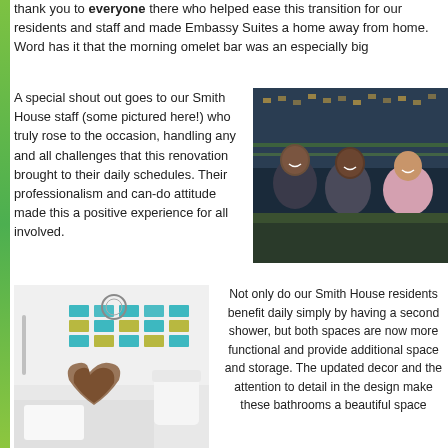thank you to everyone there who helped ease this transition for our residents and staff and made Embassy Suites a home away from home. Word has it that the morning omelet bar was an especially big hit!
A special shout out goes to our Smith House staff (some pictured here!) who truly rose to the occasion, handling any and all challenges that this renovation brought to their daily schedules. Their professionalism and can-do attitude made this a positive experience for all involved.
[Figure (photo): Three staff members posing together for a photo at night, smiling at the camera.]
[Figure (photo): Two people making a heart shape with their hands in front of a renovated bathroom with colorful tile backsplash.]
Not only do our Smith House residents benefit daily simply by having a second shower, but both spaces are now more functional and provide additional space and storage. The updated decor and the attention to detail in the design make these bathrooms a beautiful space